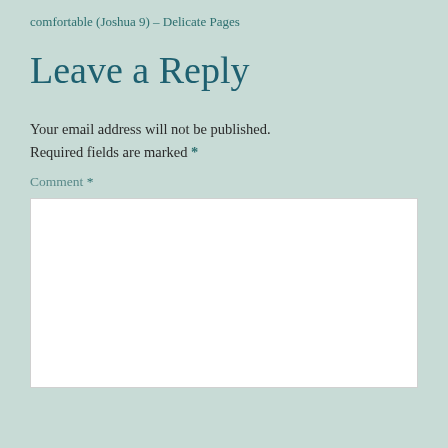comfortable (Joshua 9) – Delicate Pages
Leave a Reply
Your email address will not be published. Required fields are marked *
Comment *